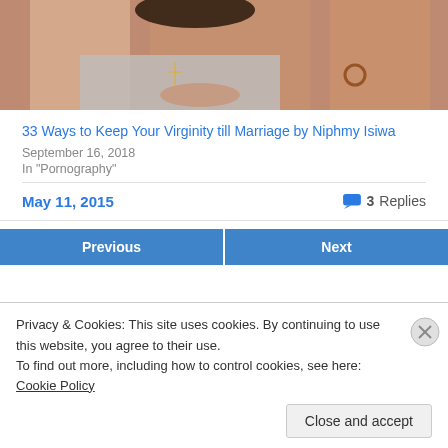[Figure (photo): Photo of two people with hands clasped/folded, one wearing a gray t-shirt with a cross necklace, the other with a beaded bracelet]
33 Ways to Keep Your Virginity till Marriage by Niphmy Isiwa
September 16, 2018
In "Pornography"
May 11, 2015
3 Replies
Previous
Next
Privacy & Cookies: This site uses cookies. By continuing to use this website, you agree to their use.
To find out more, including how to control cookies, see here: Cookie Policy
Close and accept